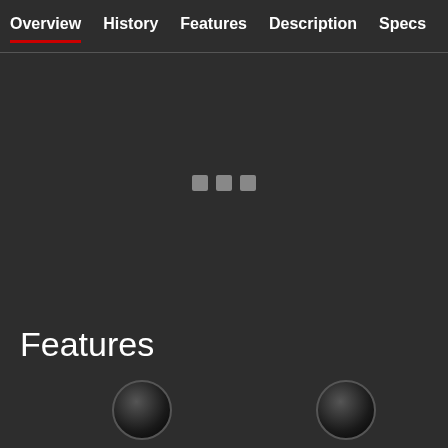Overview | History | Features | Description | Specs | Sim
[Figure (screenshot): Dark loading area with three grey square dots indicating content is loading]
Features
[Figure (infographic): Two circular icons: EXTERIOR and INTERIOR, representing feature categories]